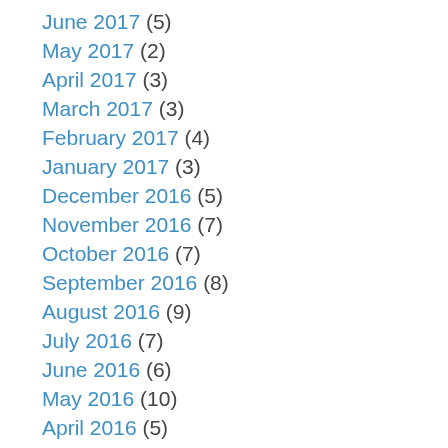June 2017 (5)
May 2017 (2)
April 2017 (3)
March 2017 (3)
February 2017 (4)
January 2017 (3)
December 2016 (5)
November 2016 (7)
October 2016 (7)
September 2016 (8)
August 2016 (9)
July 2016 (7)
June 2016 (6)
May 2016 (10)
April 2016 (5)